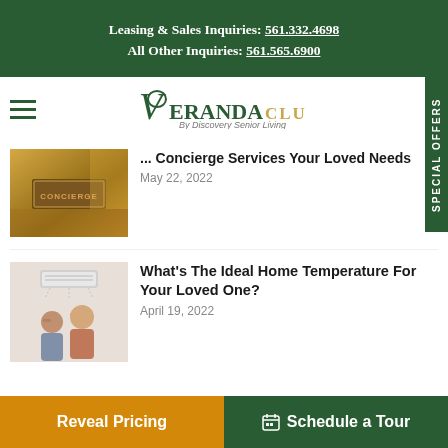Leasing & Sales Inquiries: 561.332.4698
All Other Inquiries: 561.565.6900
[Figure (logo): Veranda Club By Discovery Senior Living logo with decorative V and club text]
... Concierge Services Your Loved Needs
May 22, 2022
[Figure (photo): Concierge desk sign in a lobby with warm lighting]
What's The Ideal Home Temperature For Your Loved One?
April 19, 2022
[Figure (photo): Elderly couple, man and woman, appearing warm or uncomfortable]
Reveal Pricing
Schedule a Tour